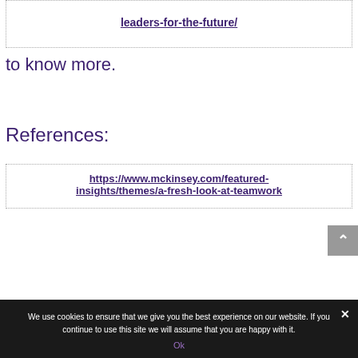leaders-for-the-future/
to know more.
References:
https://www.mckinsey.com/featured-insights/themes/a-fresh-look-at-teamwork
We use cookies to ensure that we give you the best experience on our website. If you continue to use this site we will assume that you are happy with it.
Ok